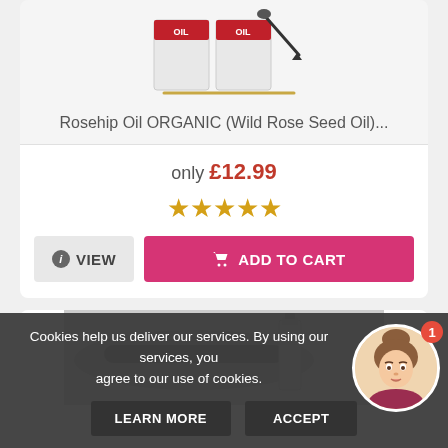[Figure (photo): Product image of Rosehip Oil ORGANIC bottles with dropper]
Rosehip Oil ORGANIC (Wild Rose Seed Oil)...
only £12.99
[Figure (other): Five gold stars rating]
VIEW  ADD TO CART
[Figure (photo): Eyebrow serum product image]
Cookies help us deliver our services. By using our services, you agree to our use of cookies.
LEARN MORE  ACCEPT